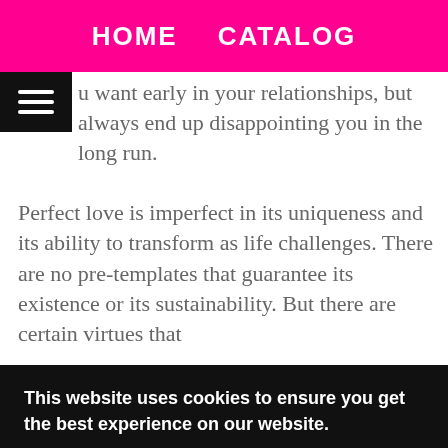HOME   CATALOG
u want early in your relationships, but always end up disappointing you in the long run.
Perfect love is imperfect in its uniqueness and its ability to transform as life challenges. There are no pre-templates that guarantee its existence or its sustainability. But there are certain virtues that
ers
at
This website uses cookies to ensure you get the best experience on our website. Learn More Got it!
[Figure (photo): Dark bottom strip showing partial photo of a person, dimly lit background.]